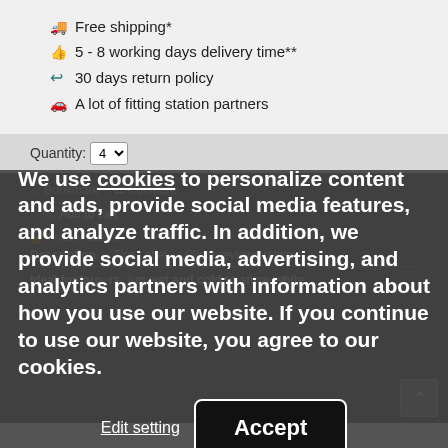🚚 Free shipping*
👍 5 - 8 working days delivery time**
↩ 30 days return policy
🚗 A lot of fitting station partners
Quantity: 4
We use cookies to personalize content and ads, provide social media features, and analyze traffic. In addition, we provide social media, advertising, and analytics partners with information about how you use our website. If you continue to use our website, you agree to our cookies.
Edit setting
Accept
Description   Tire Label   Client reviews rating
Ideal for large rs. m wet and cold to snow white.